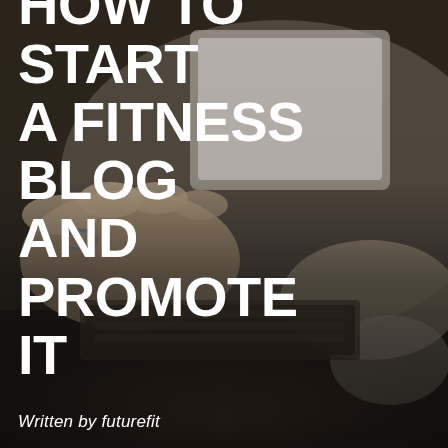[Figure (photo): Close-up photograph of a person's hands typing on a laptop keyboard, with rings visible on fingers, dark moody tone with dim overlay]
HOW TO START A FITNESS BLOG AND PROMOTE IT
Written by futurefit